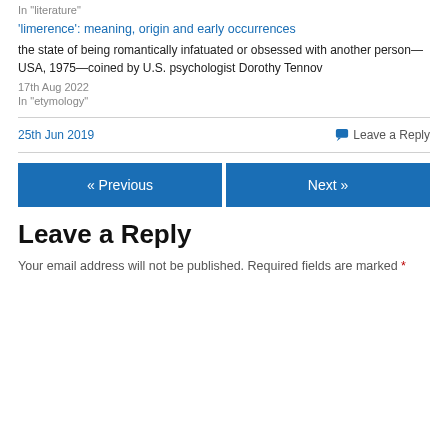In "literature"
'limerence': meaning, origin and early occurrences
the state of being romantically infatuated or obsessed with another person—USA, 1975—coined by U.S. psychologist Dorothy Tennov
17th Aug 2022
In "etymology"
25th Jun 2019
Leave a Reply
« Previous
Next »
Leave a Reply
Your email address will not be published. Required fields are marked *